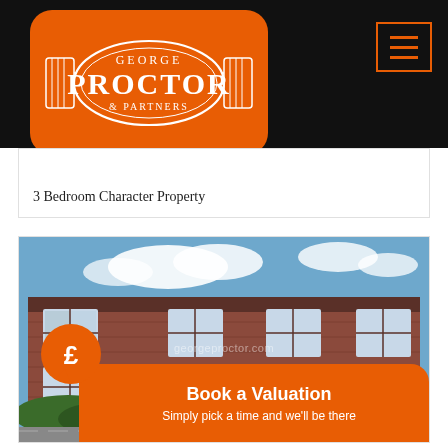[Figure (logo): George Proctor & Partners logo — white text on orange rounded rectangle background]
3 Bedroom Character Property
[Figure (photo): Exterior photograph of a red-brick two-storey character property with large windows and green hedges in front, blue sky with clouds. Watermark: georgeproctor.com. Orange 'Book a Valuation' CTA banner overlay at bottom with pound-sign speech bubble icon.]